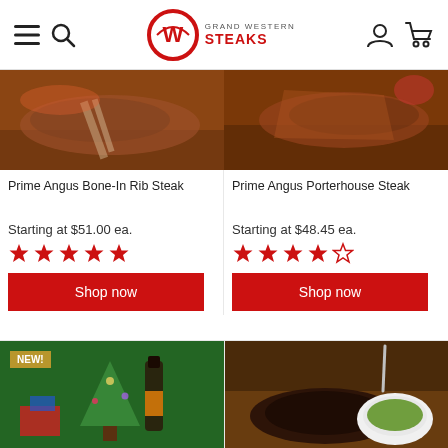Grand Western Steaks — navigation header with menu, search, logo, user account, and cart icons
[Figure (photo): Prime Angus Bone-In Rib Steak product photo — grilled bone-in rib steak on wooden board]
Prime Angus Bone-In Rib Steak
Starting at $51.00 ea.
5 stars rating
Shop now
[Figure (photo): Prime Angus Porterhouse Steak product photo — grilled porterhouse steak on wooden board]
Prime Angus Porterhouse Steak
Starting at $48.45 ea.
4 stars rating
Shop now
[Figure (photo): Holiday gift basket with wine bottle, Christmas tree decorations — NEW badge shown]
[Figure (photo): Grilled steak with chimichurri sauce in white bowl on wooden board]